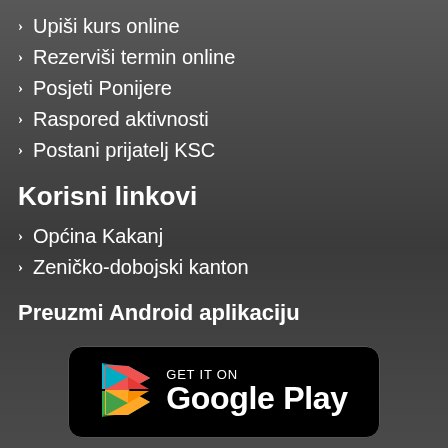Upiši kurs online
Rezerviši termin online
Posjeti Ponijere
Raspored aktivnosti
Postani prijatelj KSC
Korisni linkovi
Općina Kakanj
Zeničko-dobojski kanton
Preuzmi Android aplikaciju
[Figure (logo): GET IT ON Google Play badge with Play Store triangle icon in Google colors on black rounded rectangle background]